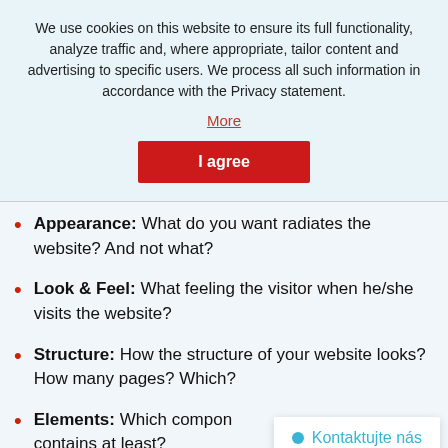We use cookies on this website to ensure its full functionality, analyze traffic and, where appropriate, tailor content and advertising to specific users. We process all such information in accordance with the Privacy statement.
More
I agree
Appearance: What do you want radiates the website? And not what?
Look & Feel: What feeling the visitor when he/she visits the website?
Structure: How the structure of your website looks? How many pages? Which?
Elements: Which compon contains at least?
Kontaktujte nás